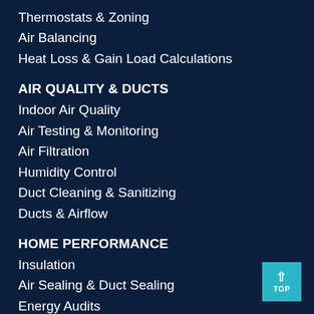Thermostats & Zoning
Air Balancing
Heat Loss & Gain Load Calculations
AIR QUALITY & DUCTS
Indoor Air Quality
Air Testing & Monitoring
Air Filtration
Humidity Control
Duct Cleaning & Sanitizing
Ducts & Airflow
HOME PERFORMANCE
Insulation
Air Sealing & Duct Sealing
Energy Audits
Attics & Crawl Spaces